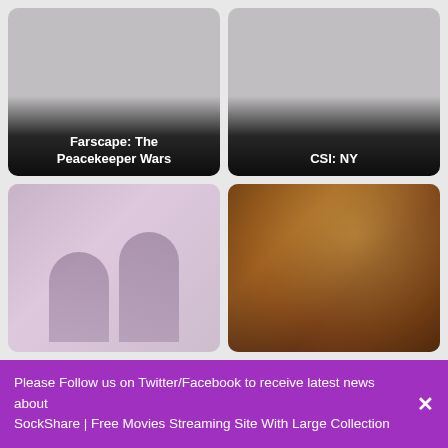[Figure (photo): Movie/show thumbnail card for Farscape: The Peacekeeper Wars — gray placeholder image with title text overlay at bottom]
[Figure (photo): Movie/show thumbnail card for CSI: NY — gray placeholder image with title text overlay at bottom]
[Figure (photo): Movie/show thumbnail card (bottom left) — faded photo showing two human figures, partially visible]
[Figure (photo): Movie/show thumbnail card (bottom right) — warm-toned image with figures, partially visible, cropped]
Please Follow us on Twitter/Facebook to receive latest news about SockShare | Free Movies Streaming Site With Large Collection